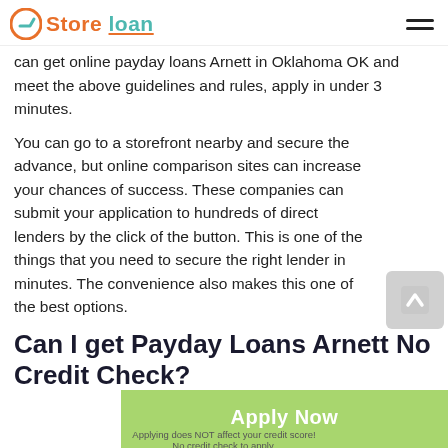Store loan
can get online payday loans Arnett in Oklahoma OK and meet the above guidelines and rules, apply in under 3 minutes.
You can go to a storefront nearby and secure the advance, but online comparison sites can increase your chances of success. These companies can submit your application to hundreds of direct lenders by the click of the button. This is one of the things that you need to secure the right lender in minutes. The convenience also makes this one of the best options.
Can I get Payday Loans Arnett No Credit Check?
[Figure (other): Green Apply Now button with text 'Applying does NOT affect your credit score! No credit check to apply.']
Most often, people apply for payday loans and get the cash advance depending on their credit score. How can you secure some cash if you have a poor credit rating? If this is